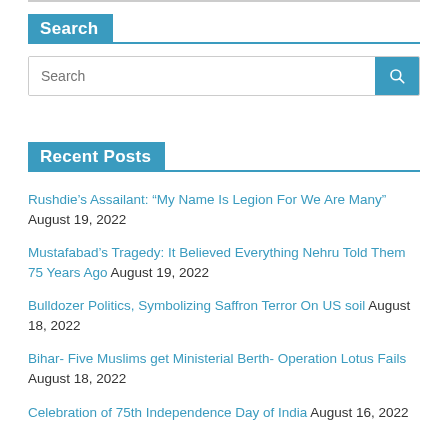Search
Recent Posts
Rushdie’s Assailant: “My Name Is Legion For We Are Many” August 19, 2022
Mustafabad’s Tragedy: It Believed Everything Nehru Told Them 75 Years Ago August 19, 2022
Bulldozer Politics, Symbolizing Saffron Terror On US soil August 18, 2022
Bihar- Five Muslims get Ministerial Berth- Operation Lotus Fails August 18, 2022
Celebration of 75th Independence Day of India August 16, 2022